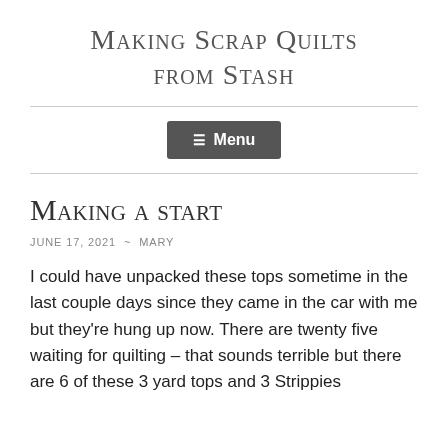Making Scrap Quilts from Stash
☰ Menu
Making a start
JUNE 17, 2021  ~  MARY
I could have unpacked these tops sometime in the last couple days since they came in the car with me but they're hung up now. There are twenty five waiting for quilting – that sounds terrible but there are 6 of these 3 yard tops and 3 Strippies